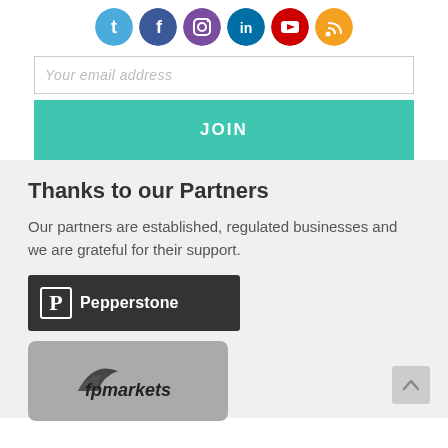[Figure (infographic): Row of 6 social media icons in colored circles: Twitter (blue), Facebook (dark blue), Instagram (purple), LinkedIn (blue), YouTube (red), RSS (orange)]
Your email address
JOIN
Thanks to our Partners
Our partners are established, regulated businesses and we are grateful for their support.
[Figure (logo): Pepperstone logo: dark background with white P icon and 'Pepperstone' text]
[Figure (logo): FP Markets logo: grey rounded rectangle with fpmarkets branding and swoosh icon]